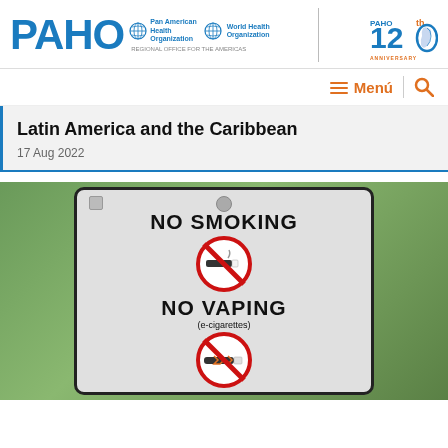PAHO | Pan American Health Organization | World Health Organization | PAHO 120th Anniversary
Latin America and the Caribbean
17 Aug 2022
[Figure (photo): A no smoking and no vaping sign with prohibition symbols, photographed outdoors against a green leafy background.]